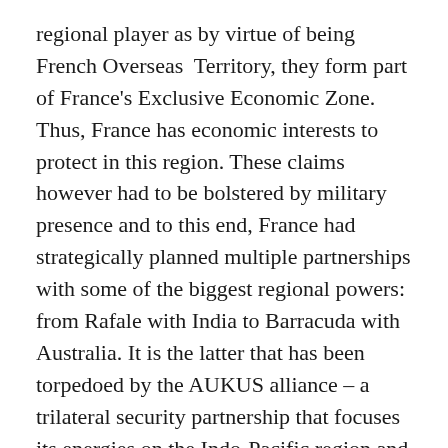regional player as by virtue of being French Overseas Territory, they form part of France's Exclusive Economic Zone. Thus, France has economic interests to protect in this region. These claims however had to be bolstered by military presence and to this end, France had strategically planned multiple partnerships with some of the biggest regional powers: from Rafale with India to Barracuda with Australia. It is the latter that has been torpedoed by the AUKUS alliance – a trilateral security partnership that focuses its energies on the Indo-Pacific region and with it quite few feathers have been ruffled, not in France, but across Europe, if France has anything to do with it.